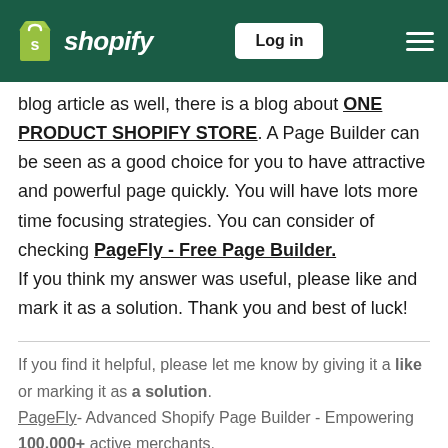Shopify — Log in
blog article as well, there is a blog about ONE PRODUCT SHOPIFY STORE. A Page Builder can be seen as a good choice for you to have attractive and powerful page quickly. You will have lots more time focusing strategies. You can consider of checking PageFly - Free Page Builder.
If you think my answer was useful, please like and mark it as a solution. Thank you and best of luck!
If you find it helpful, please let me know by giving it a like or marking it as a solution.
PageFly- Advanced Shopify Page Builder - Empowering 100,000+ active merchants.